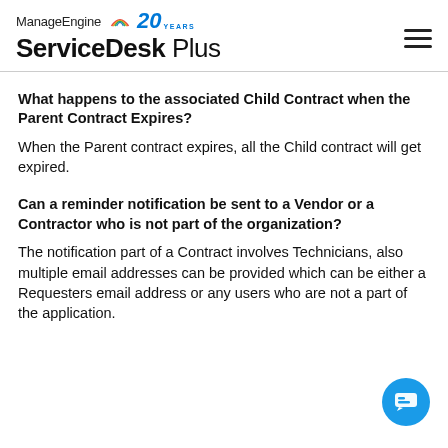ManageEngine 20 YEARS ServiceDesk Plus
What happens to the associated Child Contract when the Parent Contract Expires?
When the Parent contract expires, all the Child contract will get expired.
Can a reminder notification be sent to a Vendor or a Contractor who is not part of the organization?
The notification part of a Contract involves Technicians, also multiple email addresses can be provided which can be either a Requesters email address or any users who are not a part of the application.